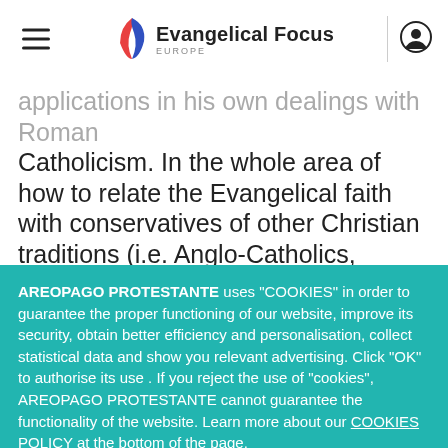Evangelical Focus EUROPE
applications in his own dealings with Roman Catholicism. In the whole area of how to relate the Evangelical faith with conservatives of other Christian traditions (i.e. Anglo-Catholics, Roman Catholics,
AREOPAGO PROTESTANTE uses “COOKIES” in order to guarantee the proper functioning of our website, improve its security, obtain better efficiency and personalisation, collect statistical data and show you relevant advertising. Click “OK” to authorise its use . If you reject the use of “cookies”, AREOPAGO PROTESTANTE cannot guarantee the functionality of the website. Learn more about our COOKIES POLICY at the bottom of the page.
Ok